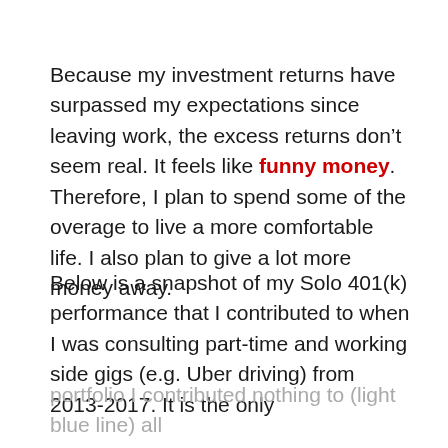Because my investment returns have surpassed my expectations since leaving work, the excess returns don't seem real. It feels like funny money. Therefore, I plan to spend some of the overage to live a more comfortable life. I also plan to give a lot more money away.
Below is a snapshot of my Solo 401(k) performance that I contributed to when I was consulting part-time and working side gigs (e.g. Uber driving) from 2013-2017. It is the only portfolio I contributed nothing to (light blue line) all